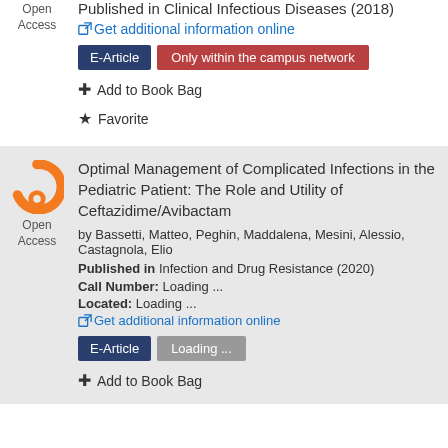Published in Clinical Infectious Diseases (2018)
Get additional information online
E-Article  Only within the campus network
+ Add to Book Bag
★ Favorite
Optimal Management of Complicated Infections in the Pediatric Patient: The Role and Utility of Ceftazidime/Avibactam
by Bassetti, Matteo, Peghin, Maddalena, Mesini, Alessio, Castagnola, Elio
Published in Infection and Drug Resistance (2020)
Call Number: Loading ...
Located: Loading ...
Get additional information online
E-Article  Loading ...
+ Add to Book Bag